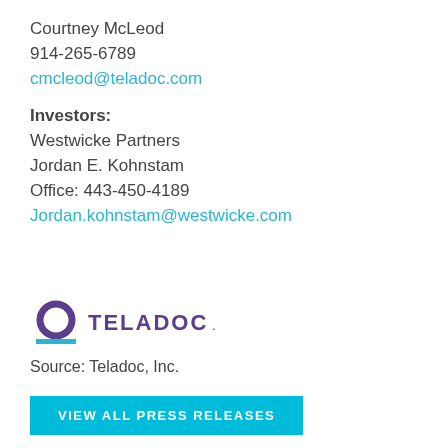Courtney McLeod
914-265-6789
cmcleod@teladoc.com
Investors:
Westwicke Partners
Jordan E. Kohnstam
Office: 443-450-4189
Jordan.kohnstam@westwicke.com
[Figure (logo): Teladoc logo with purple circle and horizontal line icon, followed by TELADOC. text in dark purple]
Source: Teladoc, Inc.
VIEW ALL PRESS RELEASES